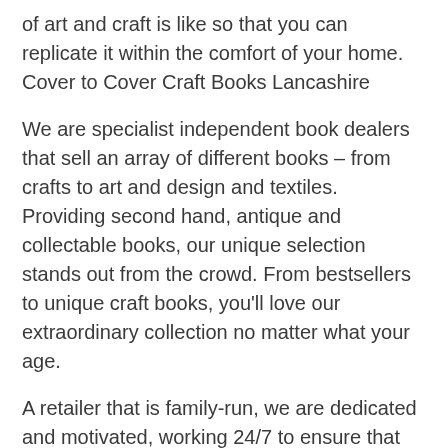of art and craft is like so that you can replicate it within the comfort of your home.
Cover to Cover Craft Books Lancashire
We are specialist independent book dealers that sell an array of different books – from crafts to art and design and textiles. Providing second hand, antique and collectable books, our unique selection stands out from the crowd. From bestsellers to unique craft books, you'll love our extraordinary collection no matter what your age.
A retailer that is family-run, we are dedicated and motivated, working 24/7 to ensure that we stock an extensive selection of craft books Lancashire residents and those visiting the town love. We only want to give you the best craft books available – which is why each of the books we sell are of a high quality and detailed – so that you can get the most out of the book no matter what industry you are in.
We love craft and specialist second hand or antique books,